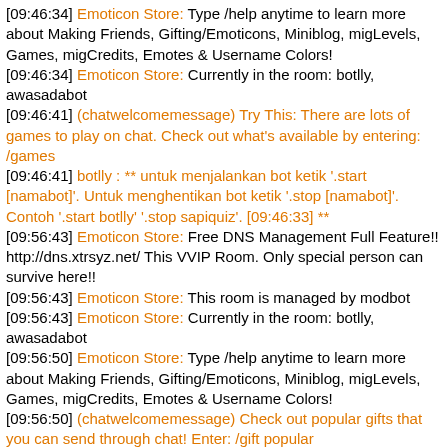[09:46:34] Emoticon Store: Type /help anytime to learn more about Making Friends, Gifting/Emoticons, Miniblog, migLevels, Games, migCredits, Emotes & Username Colors!
[09:46:34] Emoticon Store: Currently in the room: botlly, awasadabot
[09:46:41] (chatwelcomemessage) Try This: There are lots of games to play on chat. Check out what's available by entering: /games
[09:46:41] botlly : ** untuk menjalankan bot ketik '.start [namabot]'. Untuk menghentikan bot ketik '.stop [namabot]'. Contoh '.start botlly' '.stop sapiquiz'. [09:46:33] **
[09:56:43] Emoticon Store: Free DNS Management Full Feature!! http://dns.xtrsyz.net/ This VVIP Room. Only special person can survive here!!
[09:56:43] Emoticon Store: This room is managed by modbot
[09:56:43] Emoticon Store: Currently in the room: botlly, awasadabot
[09:56:50] Emoticon Store: Type /help anytime to learn more about Making Friends, Gifting/Emoticons, Miniblog, migLevels, Games, migCredits, Emotes & Username Colors!
[09:56:50] (chatwelcomemessage) Check out popular gifts that you can send through chat! Enter: /gift popular